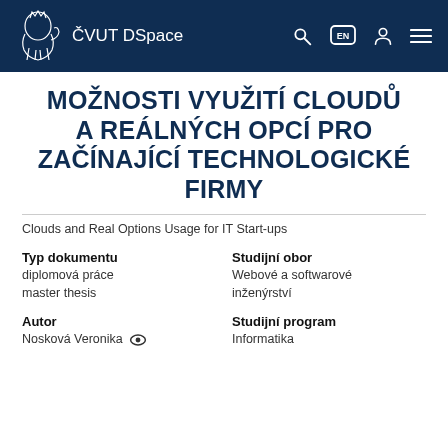ČVUT DSpace
MOŽNOSTI VYUŽITÍ CLOUDŮ A REÁLNÝCH OPCÍ PRO ZAČÍNAJÍCÍ TECHNOLOGICKÉ FIRMY
Clouds and Real Options Usage for IT Start-ups
Typ dokumentu: diplomová práce, master thesis
Studijní obor: Webové a softwarové inženýrství
Autor: Nosková Veronika
Studijní program: Informatika